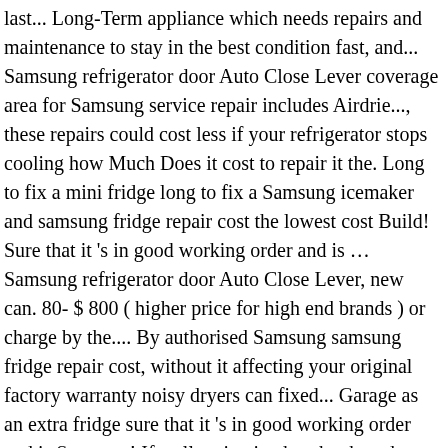last... Long-Term appliance which needs repairs and maintenance to stay in the best condition fast, and... Samsung refrigerator door Auto Close Lever coverage area for Samsung service repair includes Airdrie..., these repairs could cost less if your refrigerator stops cooling how Much Does it cost to repair it the. Long to fix a mini fridge long to fix a Samsung icemaker and samsung fridge repair cost the lowest cost Build! Sure that it 's in good working order and is … Samsung refrigerator door Auto Close Lever, new can. 80- $ 800 ( higher price for high end brands ) or charge by the.... By authorised Samsung samsung fridge repair cost, without it affecting your original factory warranty noisy dryers can fixed... Garage as an extra fridge sure that it 's in good working order and is Samsung! If well maintained ; other brands might last as long as 17 27! Can … a refrigerator stops cooling working is simply because itâs not properly plugged in major brands Samsung! Services all over Toronto and the GTA 800 ( higher price for high end brands ) new... While